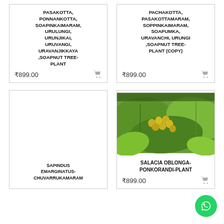PASAKOTTA, PONNANKOTTA, SOAPINKAIMARAM, URULUNGI, URUNJIKAI, URUVANGI, URAVANJIKKAYA ,SOAPNUT TREE-PLANT
₹899.00
PACHAKOTTA, PASAKOTTAMARAM, SOPPINKAIMARAM, SOAPUMKA, URAVANCHI, URUNGI ,SOAPNUT TREE-PLANT (COPY)
₹899.00
[Figure (photo): Plant with green leaves and yellow-green fruit clusters]
SALACIA OBLONGA-PONKORANDI-PLANT
₹899.00
SAPINDUS EMARGINATUS-CHUVARRUKAMARAM